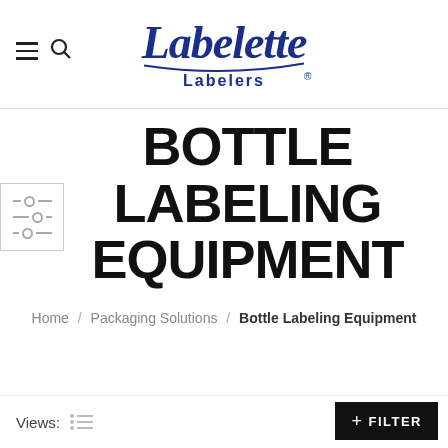[Figure (logo): Labelette Labelers cursive script logo in dark blue with 'Labelers' in bold sans-serif below, with registered trademark symbol]
BOTTLE LABELING EQUIPMENT
Home / Packaging Solutions / Bottle Labeling Equipment
Views:
+ FILTER